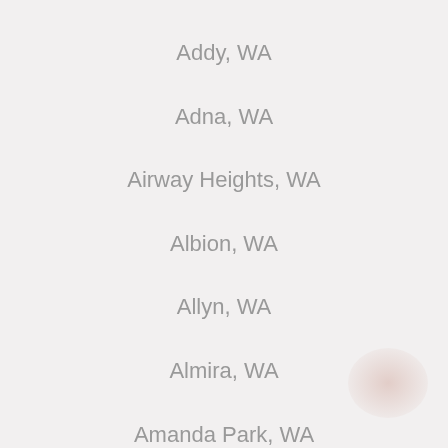Addy, WA
Adna, WA
Airway Heights, WA
Albion, WA
Allyn, WA
Almira, WA
Amanda Park, WA